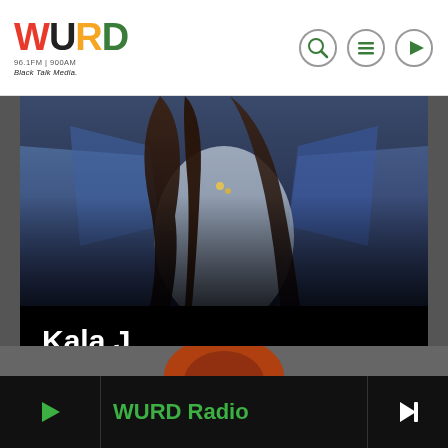[Figure (logo): WURD Radio logo with red W, black U, orange R, green D lettering, tagline '96.1FM | 900AM' and 'Black Talk Media']
[Figure (illustration): Navigation icons: search magnifying glass, hamburger menu, and play button, all in circular outlines]
[Figure (photo): Photo of a woman wearing a white shirt and denim jacket with long dark hair, with dark overlay at bottom]
Kala J.
274 views, 1 like, 3 shares
WURD Radio